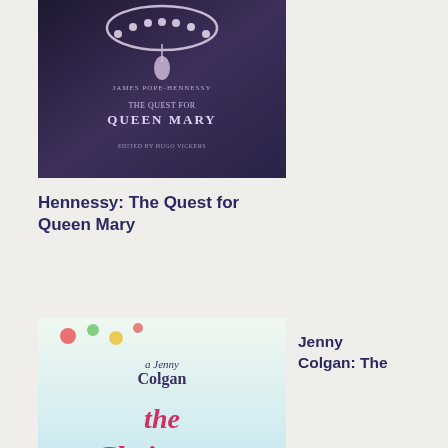[Figure (illustration): Book cover: The Quest for Queen Mary by Hennessy, dark purple/blue cover with pearl necklace image]
Hennessy: The Quest for Queen Mary
[Figure (illustration): Book cover: Jenny Colgan The Christmas Surprise, colorful illustrated cover with festive village scene]
Jenny Colgan: The Christmas Surprise
[Figure (illustration): Book cover: Jenny Colgan Christmas at Rosie Hopkins' Sweet Shop, red cover with Christmas decorations]
Jenny Colgan:
will rem in pric of my pla on my boo Sec we of Win nex we so I will be tur to anc